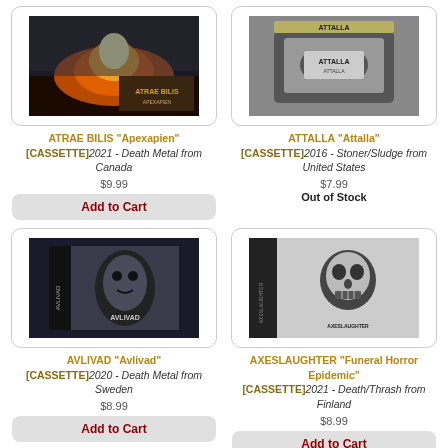[Figure (photo): Cassette tape product image for ATRAE BILIS Apexapien]
[Figure (photo): Cassette tape product image for ATTALLA Attalla]
ATRAE BILIS "Apexapien" [CASSETTE] 2021 - Death Metal from Canada
$9.99
Add to Cart
ATTALLA "Attalla" [CASSETTE] 2016 - Stoner/Sludge from United States
$7.99
Out of Stock
[Figure (photo): Cassette tape product image for AVLIVAD Avlivad]
[Figure (photo): Cassette tape product image for AXESLAUGHTER Funeral Horror Epidemic]
AVLIVAD "Avlivad" [CASSETTE] 2020 - Death Metal from Sweden
$8.99
Add to Cart
AXESLAUGHTER "Funeral Horror Epidemic" [CASSETTE] 2021 - Death/Thrash from Finland
$8.99
Add to Cart